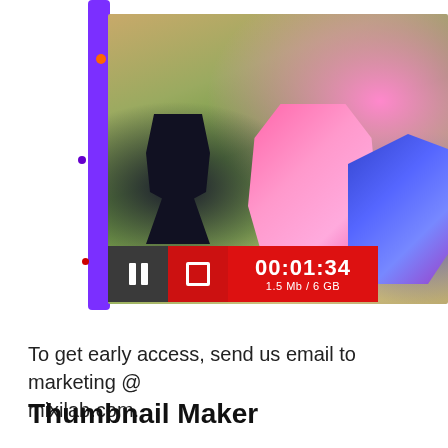[Figure (screenshot): A video recording interface showing a game capture of Overwatch with characters including Reaper and D.Va's mech. A playback/recording bar at the bottom shows a pause button, stop button, timer reading 00:01:34, and file size 1.5 Mb / 6 GB. The interface has a purple vertical bar on the left with colored dots.]
To get early access, send us email to marketing @ mixilab.com.
Thumbnail Maker